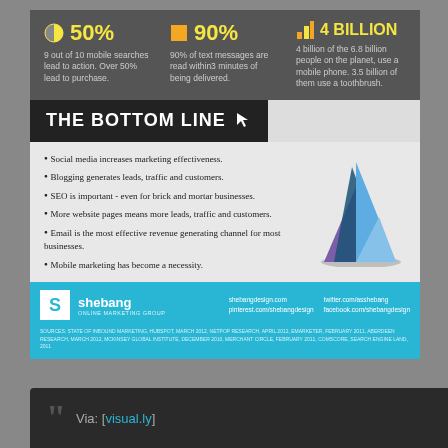[Figure (infographic): Three stat columns on dark grey background: 50% with half-circle icon (9 out of 10 mobile searches lead to action, over 50% lead to purchase), 90% with orange square icon (90% of text messages are read within 3 minutes of being delivered), 4 BILLION with bar chart icon (4 billion of the 6.8 billion people on the planet use a mobile phone, 3.5 billion of them use a toothbrush)]
THE BOTTOM LINE
Social media increases marketing effectiveness.
Blogging generates leads, traffic and customers.
SEO is important - even for brick and mortar businesses.
More website pages means more leads, traffic and customers.
Email is the most effective revenue generating channel for most businesses.
Mobile marketing has become a necessity.
[Figure (illustration): 3D blue and purple triangular pyramid chart]
[Figure (logo): Shebang Online Marketing Group logo with website and social media links]
SOURCES: STATE OF INBOUND MARKETING, HUBSPOT, MARCH 2012, NETPOP RESEARCH, APRIL 2012, EMARKETER, FEBRUARY 2011, ABERDEEN RESEARCH, MARCH 2012, MCKINSEY GLOBAL INSTITUTE, DECEMBER 2010, MERCHANT CIRCLE, FEBRUARY 2011, COMSCORE, SEARCH ENGINE LAND, 2011
Via: [visual.ly]